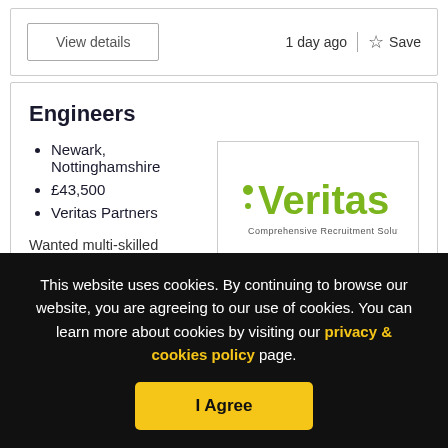View details | 1 day ago | Save
Engineers
Newark, Nottinghamshire
£43,500
Veritas Partners
[Figure (logo): Veritas Comprehensive Recruitment Solutions logo - green text on white background]
Wanted multi-skilled engineer for food factory, based NC...
This website uses cookies. By continuing to browse our website, you are agreeing to our use of cookies. You can learn more about cookies by visiting our privacy & cookies policy page.
I Agree